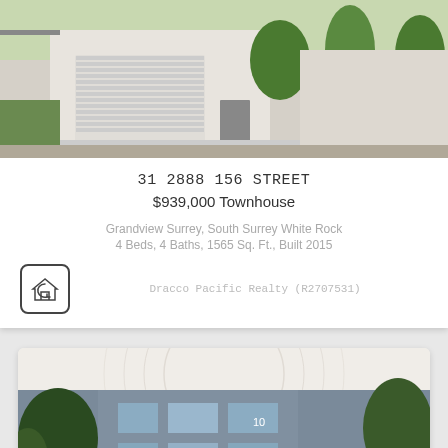[Figure (photo): Exterior photo of townhouse at 31 2888 156 Street, showing a white garage door, driveway, and green landscaping]
31 2888 156 STREET
$939,000 Townhouse
Grandview Surrey, South Surrey White Rock
4 Beds, 4 Baths, 1565 Sq. Ft., Built 2015
Dracco Pacific Realty (R2707531)
[Figure (photo): Exterior photo of a multi-storey residential building with balconies and trees, with an up-arrow navigation icon overlay]